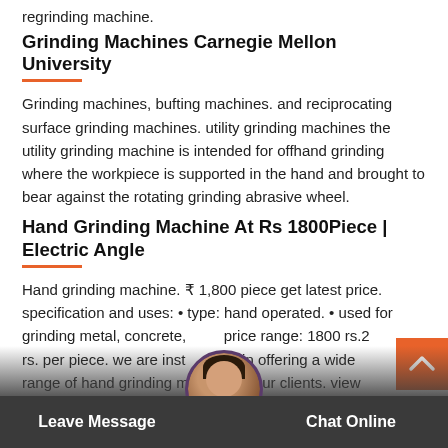regrinding machine.
Grinding Machines Carnegie Mellon University
Grinding machines, bufting machines. and reciprocating surface grinding machines. utility grinding machines the utility grinding machine is intended for offhand grinding where the workpiece is supported in the hand and brought to bear against the rotating grinding abrasive wheel.
Hand Grinding Machine At Rs 1800Piece | Electric Angle
Hand grinding machine. ₹ 1,800 piece get latest price. specification and uses: • type: hand operated. • used for grinding metal, concrete, price range: 1800 rs.2 rs. per piece. we are instrumental in offering a wide range of hand grinding machine to our clients. view
Leave Message   Chat Online